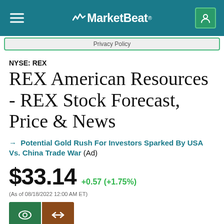MarketBeat
Privacy Policy
NYSE: REX
REX American Resources - REX Stock Forecast, Price & News
→ Potential Gold Rush For Investors Sparked By USA Vs. China Trade War (Ad)
$33.14 +0.57 (+1.75%) (As of 08/18/2022 12:00 AM ET)
SHARE